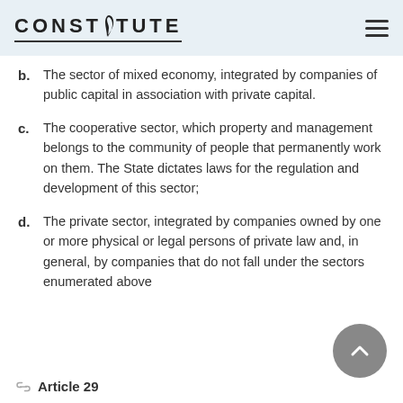CONSTITUTE
b. The sector of mixed economy, integrated by companies of public capital in association with private capital.
c. The cooperative sector, which property and management belongs to the community of people that permanently work on them. The State dictates laws for the regulation and development of this sector;
d. The private sector, integrated by companies owned by one or more physical or legal persons of private law and, in general, by companies that do not fall under the sectors enumerated above
Article 29